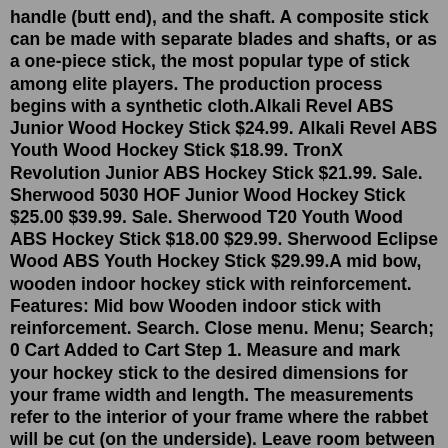handle (butt end), and the shaft. A composite stick can be made with separate blades and shafts, or as a one-piece stick, the most popular type of stick among elite players. The production process begins with a synthetic cloth.Alkali Revel ABS Junior Wood Hockey Stick $24.99. Alkali Revel ABS Youth Wood Hockey Stick $18.99. TronX Revolution Junior ABS Hockey Stick $21.99. Sale. Sherwood 5030 HOF Junior Wood Hockey Stick $25.00 $39.99. Sale. Sherwood T20 Youth Wood ABS Hockey Stick $18.00 $29.99. Sherwood Eclipse Wood ABS Youth Hockey Stick $29.99.A mid bow, wooden indoor hockey stick with reinforcement. Features: Mid bow Wooden indoor stick with reinforcement. Search. Close menu. Menu; Search; 0 Cart Added to Cart Step 1. Measure and mark your hockey stick to the desired dimensions for your frame width and length. The measurements refer to the interior of your frame where the rabbet will be cut (on the underside). Leave room between lengths of the frame for the waste from cutting the 45-